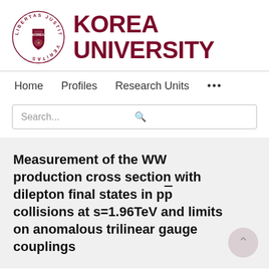[Figure (logo): Korea University logo: circular seal with lion and text LIBERTAS JUSTITIA VERITAS plus KOREA UNIVERSITY wordmark in dark red]
Home   Profiles   Research Units   ...
Search...
Measurement of the WW production cross section with dilepton final states in pp̄ collisions at s=1.96TeV and limits on anomalous trilinear gauge couplings